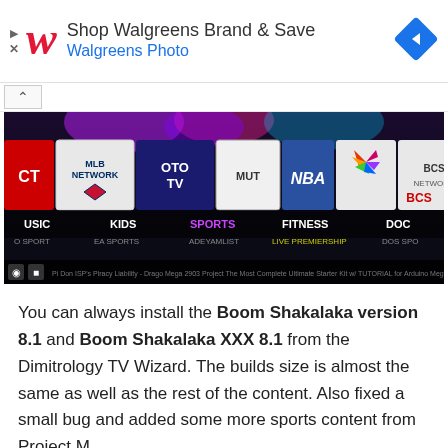[Figure (screenshot): Walgreens advertisement banner with red cursive W logo, text 'Shop Walgreens Brand & Save' and 'Walgreens Photo', and a blue diamond navigation icon on the right]
[Figure (screenshot): Kodi media player screenshot showing sports channel logos including MLB Network, OTO TV, MUTE, NBA, NBC, BCSP Network, and NFL, with category tabs: MUSIC, KIDS, SPORTS, FITNESS, DOC]
You can always install the Boom Shakalaka version 8.1 and Boom Shakalaka XXX 8.1 from the Dimitrology TV Wizard. The builds size is almost the same as well as the rest of the content. Also fixed a small bug and added some more sports content from Project M.
As always, the Boom Shakalaka KODI Build as well as all the other builds from the Dimitrology TV Wizard are free